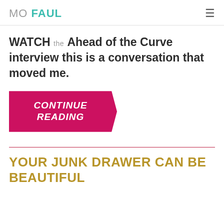MO FAUL
WATCH the Ahead of the Curve interview this is a conversation that moved me.
[Figure (other): Pink/magenta parallelogram button with white bold italic text reading CONTINUE READING]
YOUR JUNK DRAWER CAN BE BEAUTIFUL